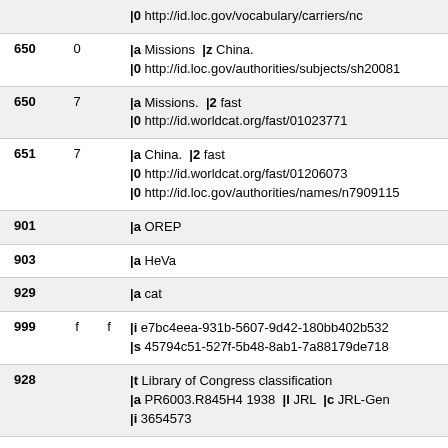| Tag | Ind1 | Ind2 | Content |
| --- | --- | --- | --- |
|  |  |  | |0 http://id.loc.gov/vocabulary/carriers/nc |
| 650 | 0 |  | |a Missions  |z China.
|0 http://id.loc.gov/authorities/subjects/sh20081... |
| 650 | 7 |  | |a Missions.  |2 fast
|0 http://id.worldcat.org/fast/01023771 |
| 651 | 7 |  | |a China.  |2 fast
|0 http://id.worldcat.org/fast/01206073
|0 http://id.loc.gov/authorities/names/n7909115... |
| 901 |  |  | |a OREP |
| 903 |  |  | |a HeVa |
| 929 |  |  | |a cat |
| 999 | f | f | |i e7bc4eea-931b-5607-9d42-180bb402b532
|s 45794c51-527f-5b48-8ab1-7a88179de718 |
| 928 |  |  | |t Library of Congress classification
|a PR6003.R845H4 1938  |l JRL  |c JRL-Gen
|i 3654573 |